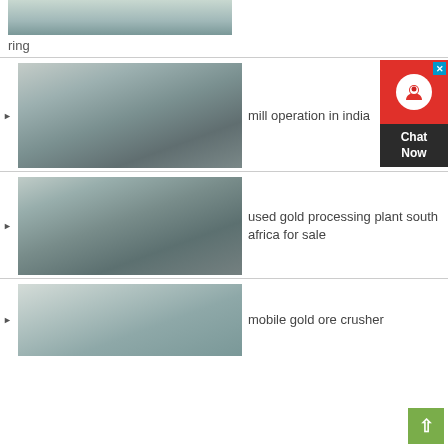[Figure (photo): Industrial machinery photo - partial view at top of page]
ring
[Figure (photo): Industrial cone crusher machines in factory setting]
mill operation in india
[Figure (photo): Industrial VSI crusher machine on factory floor]
used gold processing plant south africa for sale
[Figure (photo): Industrial ball mill machine in factory]
mobile gold ore crusher